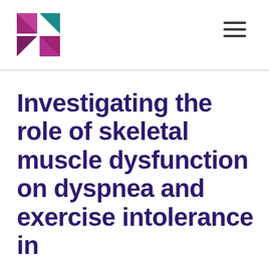[Logo] [Navigation menu icon]
Investigating the role of skeletal muscle dysfunction on dyspnea and exercise intolerance in